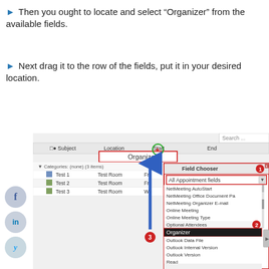Then you ought to locate and select “Organizer” from the available fields.
Next drag it to the row of the fields, put it in your desired location.
[Figure (screenshot): Screenshot of Microsoft Outlook calendar view with a Field Chooser dialog open. The Field Chooser shows 'All Appointment fields' selected, with a list including NetMeeting AutoStart, NetMeeting Office Document Pa, NetMeeting Organizer E-mail, Online Meeting, Online Meeting Type, Optional Attendees, Organizer (highlighted in black), Outlook Data File, Outlook Internal Version, Outlook Version, Read, Received Representing Name. Numbered red circle annotations: 1 on Field Chooser title, 2 on Optional Attendees row, 3 on arrow pointing up. A blue arrow points from the Field Chooser upward to the calendar header where 'Organizer' is being dragged. A green circle with red plus icon is shown at top. New and Delete buttons at bottom of dialog. Calendar shows Test 1, Test 2, Test 3 entries in Test Room.]